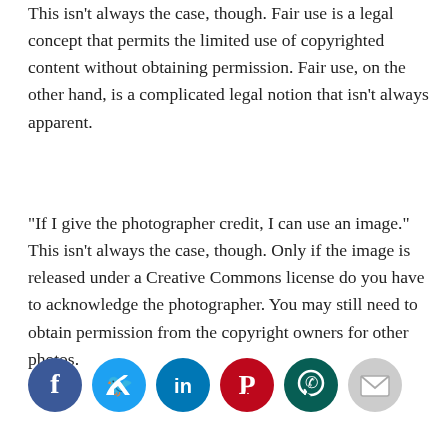This isn't always the case, though. Fair use is a legal concept that permits the limited use of copyrighted content without obtaining permission. Fair use, on the other hand, is a complicated legal notion that isn't always apparent.
“If I give the photographer credit, I can use an image.” This isn’t always the case, though. Only if the image is released under a Creative Commons license do you have to acknowledge the photographer. You may still need to obtain permission from the copyright owners for other photos.
[Figure (infographic): A row of six social media sharing icons (circles): Facebook (dark blue), Twitter (light blue), LinkedIn (medium blue), Pinterest (dark red), WhatsApp (teal/green), Email (light gray)]